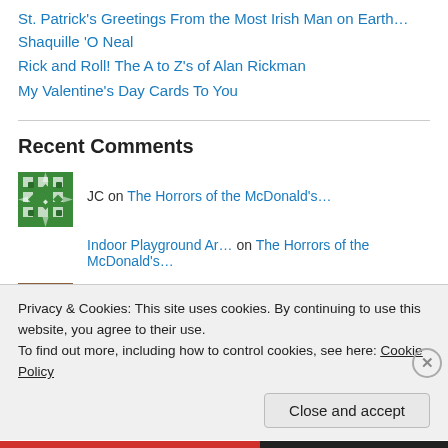St. Patrick's Greetings From the Most Irish Man on Earth… Shaquille 'O Neal
Rick and Roll! The A to Z's of Alan Rickman
My Valentine's Day Cards To You
Recent Comments
JC on The Horrors of the McDonald's…
Indoor Playground Ar… on The Horrors of the McDonald's…
Andrew Blumetti on The Horrors of the McDonald's…
Privacy & Cookies: This site uses cookies. By continuing to use this website, you agree to their use.
To find out more, including how to control cookies, see here: Cookie Policy
Close and accept